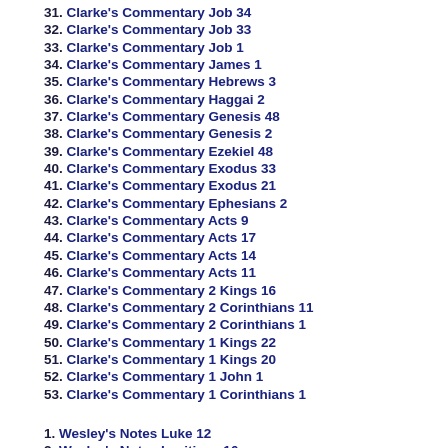31. Clarke's Commentary Job 34
32. Clarke's Commentary Job 33
33. Clarke's Commentary Job 1
34. Clarke's Commentary James 1
35. Clarke's Commentary Hebrews 3
36. Clarke's Commentary Haggai 2
37. Clarke's Commentary Genesis 48
38. Clarke's Commentary Genesis 2
39. Clarke's Commentary Ezekiel 48
40. Clarke's Commentary Exodus 33
41. Clarke's Commentary Exodus 21
42. Clarke's Commentary Ephesians 2
43. Clarke's Commentary Acts 9
44. Clarke's Commentary Acts 17
45. Clarke's Commentary Acts 14
46. Clarke's Commentary Acts 11
47. Clarke's Commentary 2 Kings 16
48. Clarke's Commentary 2 Corinthians 11
49. Clarke's Commentary 2 Corinthians 1
50. Clarke's Commentary 1 Kings 22
51. Clarke's Commentary 1 Kings 20
52. Clarke's Commentary 1 John 1
53. Clarke's Commentary 1 Corinthians 1
1. Wesley's Notes Luke 12
2. Wesley's Notes Leviticus 16
3. Wesley's Notes Judges 6
4. Wesley's Notes Job 1
5. Wesley's Notes Jeremiah 5